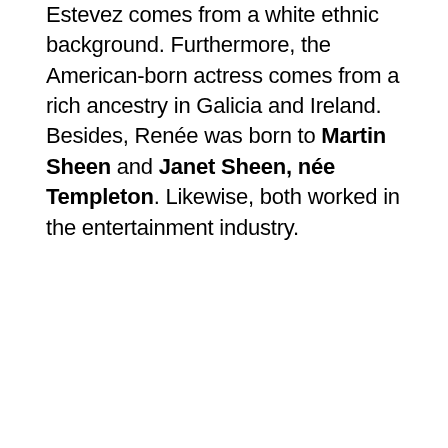Estevez comes from a white ethnic background. Furthermore, the American-born actress comes from a rich ancestry in Galicia and Ireland. Besides, Renée was born to Martin Sheen and Janet Sheen, née Templeton. Likewise, both worked in the entertainment industry.